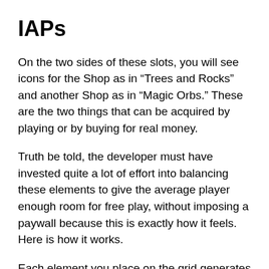IAPs
On the two sides of these slots, you will see icons for the Shop as in “Trees and Rocks” and another Shop as in “Magic Orbs.” These are the two things that can be acquired by playing or by buying for real money.
Truth be told, the developer must have invested quite a lot of effort into balancing these elements to give the average player enough room for free play, without imposing a paywall because this is exactly how it feels. Here is how it works.
Each element you place on the grid generates some in-app currency for you. Trees and farms generate goods; rocks and castles – gold. The trees and rocks from the left-side shop can be bought for the goods; the magic orbs from the